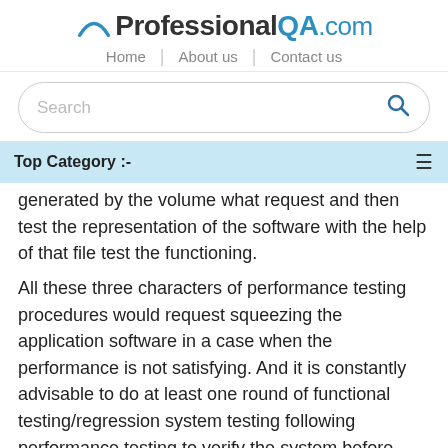ProfessionalQA.com — Home | About us | Contact us
[Figure (screenshot): Search bar with rounded border and magnifying glass icon]
Top Category :-
generated by the volume what request and then test the representation of the software with the help of that file test the functioning.
All these three characters of performance testing procedures would request squeezing the application software in a case when the performance is not satisfying. And it is constantly advisable to do at least one round of functional testing/regression system testing following performance testing to verify the system before composition.
...